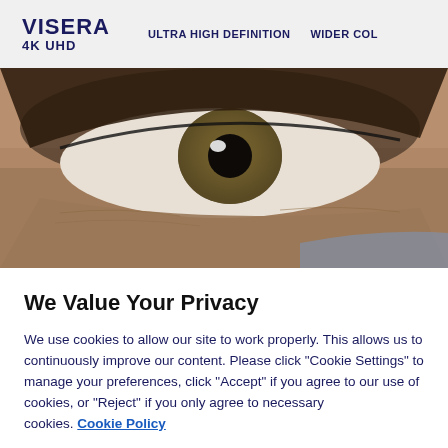VISERA 4K UHD | ULTRA HIGH DEFINITION | WIDER COL
[Figure (photo): Close-up macro photo of a human eye with skin texture visible, occupying the full width banner area below the navigation header.]
We Value Your Privacy
We use cookies to allow our site to work properly. This allows us to continuously improve our content. Please click "Cookie Settings" to manage your preferences, click "Accept" if you agree to our use of cookies, or "Reject" if you only agree to necessary cookies. Cookie Policy
Cookies Settings
Reject All
Accept All Cookies